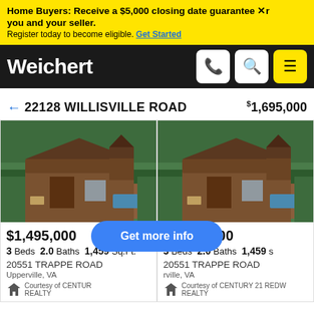Home Buyers: Receive a $5,000 closing date guarantee ×r you and your seller. Register today to become eligible. Get Started
[Figure (logo): Weichert real estate logo with navigation icons (phone, search, hamburger menu)]
← 22128 WILLISVILLE ROAD  $1,695,000
[Figure (photo): Aerial photo of a log cabin house surrounded by green trees]
$1,495,000
3 Beds  2.0 Baths  1,459 Sq.Ft.
20551 TRAPPE ROAD
Upperville, VA
Courtesy of CENTUR REALTY
[Figure (photo): Aerial photo of same log cabin house surrounded by green trees (duplicate)]
$1,495,000
3 Beds  2.0 Baths  1,459 s
20551 TRAPPE ROAD
rville, VA
Courtesy of CENTURY 21 REDW REALTY
Get more info